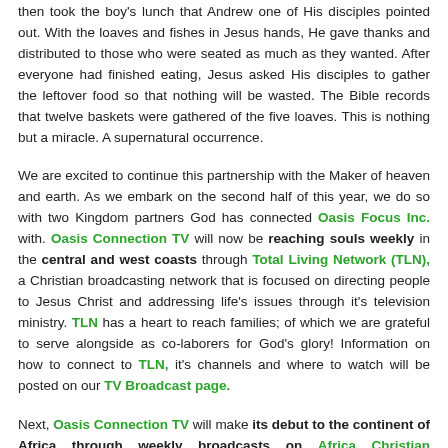then took the boy's lunch that Andrew one of His disciples pointed out. With the loaves and fishes in Jesus hands, He gave thanks and distributed to those who were seated as much as they wanted. After everyone had finished eating, Jesus asked His disciples to gather the leftover food so that nothing will be wasted. The Bible records that twelve baskets were gathered of the five loaves. This is nothing but a miracle. A supernatural occurrence.
We are excited to continue this partnership with the Maker of heaven and earth. As we embark on the second half of this year, we do so with two Kingdom partners God has connected Oasis Focus Inc. with. Oasis Connection TV will now be reaching souls weekly in the central and west coasts through Total Living Network (TLN), a Christian broadcasting network that is focused on directing people to Jesus Christ and addressing life's issues through it's television ministry. TLN has a heart to reach families; of which we are grateful to serve alongside as co-laborers for God's glory! Information on how to connect to TLN, it's channels and where to watch will be posted on our TV Broadcast page.
Next, Oasis Connection TV will make its debut to the continent of Africa through weekly broadcasts on Africa Christian Broadcasting